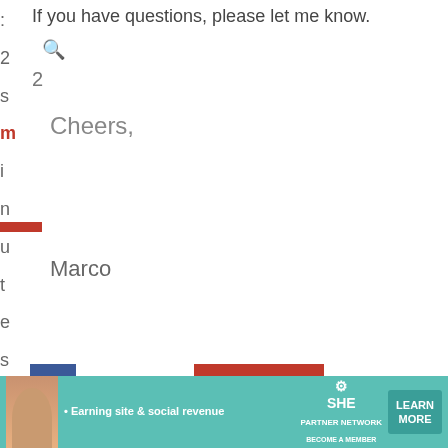If you have questions, please let me know.
Cheers,
Marco
[Figure (screenshot): Reply to Marco Sisco button bar with reply arrow icon and X close button]
[Figure (screenshot): Video player overlay showing paused video with Questions? speech bubble, play button, robot mascot, timestamp 13:52, CC and other controls, and Peter label below]
[Figure (screenshot): Facebook share button (blue square with f)]
[Figure (screenshot): Upload PDF button (red with up arrow and PDF text)]
[Figure (screenshot): Twitter share button (blue bird)]
[Figure (infographic): SHE Partner Network advertisement banner: Earning site & social revenue. LEARN MORE. Become a member.]